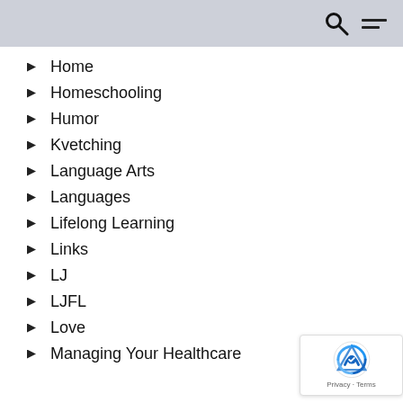Home
Homeschooling
Humor
Kvetching
Language Arts
Languages
Lifelong Learning
Links
LJ
LJFL
Love
Managing Your Healthcare